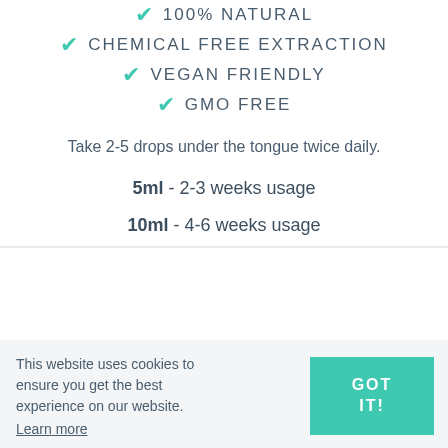✓ 100% NATURAL
✓ CHEMICAL FREE EXTRACTION
✓ VEGAN FRIENDLY
✓ GMO FREE
Take 2-5 drops under the tongue twice daily.
5ml - 2-3 weeks usage
10ml - 4-6 weeks usage
This website uses cookies to ensure you get the best experience on our website. Learn more
GOT IT!